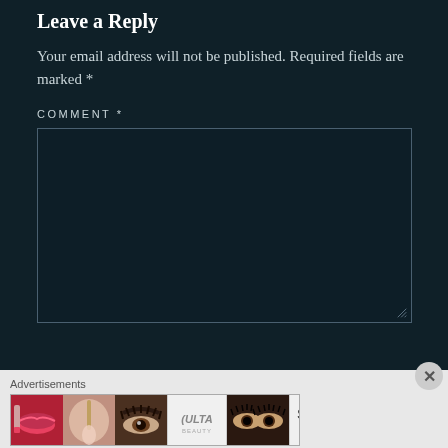Leave a Reply
Your email address will not be published. Required fields are marked *
COMMENT *
[Figure (screenshot): Comment text area input box, empty, dark background with border]
[Figure (infographic): Advertisement banner for ULTA Beauty showing makeup images including lips, brush, eye, ULTA logo, eyes, and SHOP NOW text]